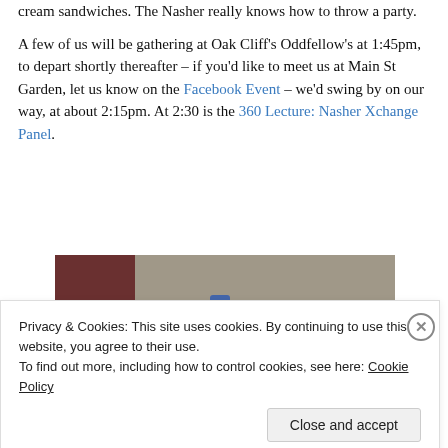cream sandwiches. The Nasher really knows how to throw a party.
A few of us will be gathering at Oak Cliff's Oddfellow's at 1:45pm, to depart shortly thereafter – if you'd like to meet us at Main St Garden, let us know on the Facebook Event – we'd swing by on our way, at about 2:15pm. At 2:30 is the 360 Lecture: Nasher Xchange Panel.
[Figure (photo): Photo of person in orange/red flowing skirt standing next to a white bicycle, with another bicycle with basket visible on the right]
Privacy & Cookies: This site uses cookies. By continuing to use this website, you agree to their use.
To find out more, including how to control cookies, see here: Cookie Policy
Close and accept